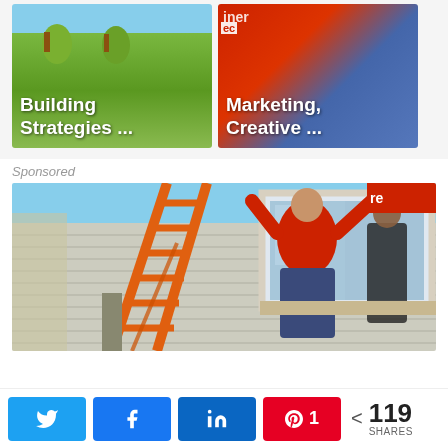[Figure (photo): Two content thumbnail cards side by side: left card shows 'Building Strategies ...' over a green landscape image; right card shows 'Marketing, Creative ...' over a red/blue background]
Sponsored
[Figure (photo): Sponsored image showing workers on an orange ladder installing a window on a house with gray siding. A person in a red shirt is reaching up to the window frame.]
[Figure (infographic): Social share bar with Twitter, Facebook, LinkedIn, Pinterest buttons and share count showing 119 SHARES]